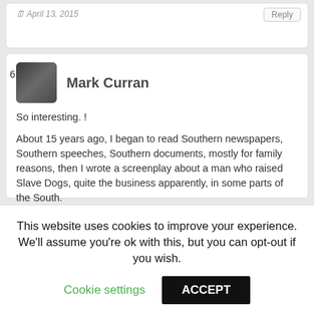April 13, 2015
Reply
6.
[Figure (photo): Avatar photo of Mark Curran]
Mark Curran
So interesting. !
About 15 years ago, I began to read Southern newspapers, Southern speeches, Southern documents, mostly for family reasons, then I wrote a screenplay about a man who raised Slave Dogs, quite the business apparently, in some parts of the South.
Anyway, I found things in Southern newspapers and speeches that I never learned in college, despite my avid interest in history, nor did I read about them in books, biographies since college, yet they were basic things.
This website uses cookies to improve your experience. We'll assume you're ok with this, but you can opt-out if you wish.
Cookie settings
ACCEPT